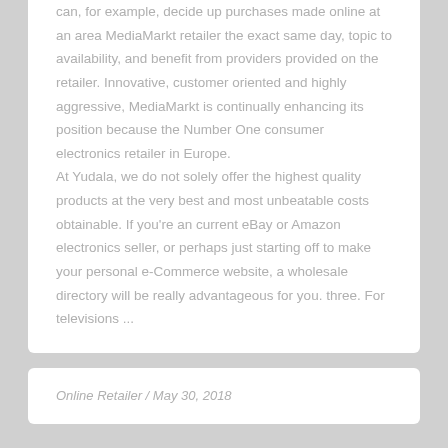can, for example, decide up purchases made online at an area MediaMarkt retailer the exact same day, topic to availability, and benefit from providers provided on the retailer. Innovative, customer oriented and highly aggressive, MediaMarkt is continually enhancing its position because the Number One consumer electronics retailer in Europe.
At Yudala, we do not solely offer the highest quality products at the very best and most unbeatable costs obtainable. If you're an current eBay or Amazon electronics seller, or perhaps just starting off to make your personal e-Commerce website, a wholesale directory will be really advantageous for you. three. For televisions ...
Online Retailer / May 30, 2018